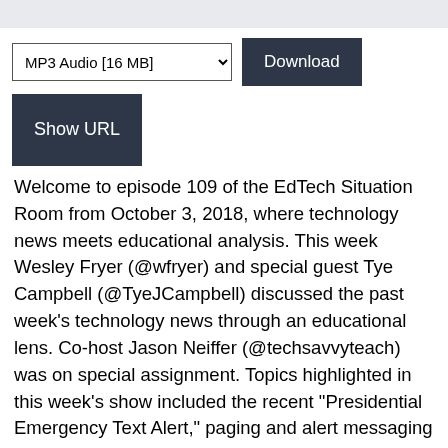MP3 Audio [16 MB] (dropdown) | Download (button) | Show URL (button)
Welcome to episode 109 of the EdTech Situation Room from October 3, 2018, where technology news meets educational analysis. This week Wesley Fryer (@wfryer) and special guest Tye Campbell (@TyeJCampbell) discussed the past week's technology news through an educational lens. Co-host Jason Neiffer (@techsavvyteach) was on special assignment. Topics highlighted in this week's show included the recent “Presidential Emergency Text Alert,” paging and alert messaging at school, and Apple’s latest iOS 12 which brings improved performance at the price of faster battery consumption. The new screentime